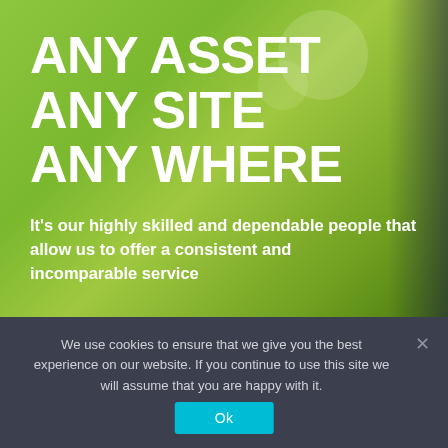[Figure (screenshot): Website hero banner with green bokeh background and dark right-side panel showing a person. Large white bold text overlay reads 'ANY ASSET ANY SITE ANY WHERE' with a tagline below.]
ANY ASSET ANY SITE ANY WHERE
It's our highly skilled and dependable people that allow us to offer a consistent and incomparable service
We use cookies to ensure that we give you the best experience on our website. If you continue to use this site we will assume that you are happy with it.